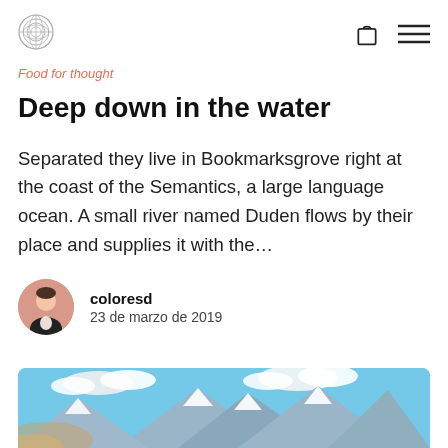[logo] [bag icon] [menu icon]
Food for thought
Deep down in the water
Separated they live in Bookmarksgrove right at the coast of the Semantics, a large language ocean. A small river named Duden flows by their place and supplies it with the…
coloresd
23 de marzo de 2019
[Figure (photo): Mountain landscape with snow-capped peaks and blue sky with clouds, partially visible at bottom of page]